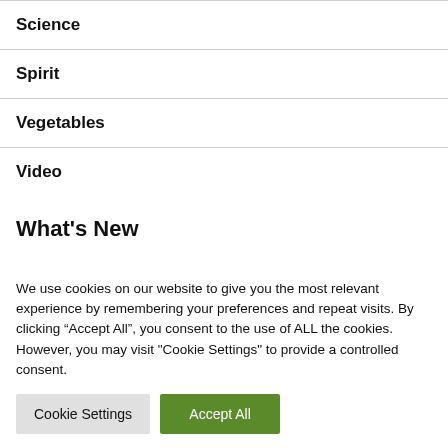Science
Spirit
Vegetables
Video
What's New
We use cookies on our website to give you the most relevant experience by remembering your preferences and repeat visits. By clicking “Accept All”, you consent to the use of ALL the cookies. However, you may visit "Cookie Settings" to provide a controlled consent.
Cookie Settings | Accept All